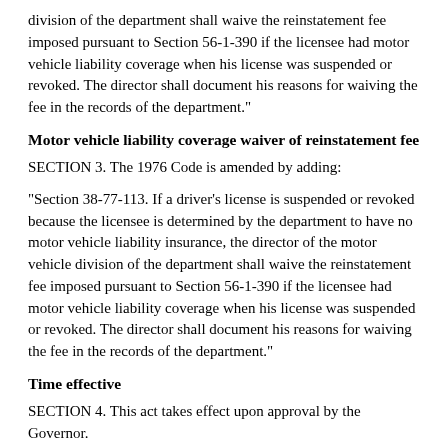division of the department shall waive the reinstatement fee imposed pursuant to Section 56-1-390 if the licensee had motor vehicle liability coverage when his license was suspended or revoked. The director shall document his reasons for waiving the fee in the records of the department."
Motor vehicle liability coverage waiver of reinstatement fee
SECTION 3. The 1976 Code is amended by adding:
"Section 38-77-113. If a driver’s license is suspended or revoked because the licensee is determined by the department to have no motor vehicle liability insurance, the director of the motor vehicle division of the department shall waive the reinstatement fee imposed pursuant to Section 56-1-390 if the licensee had motor vehicle liability coverage when his license was suspended or revoked. The director shall document his reasons for waiving the fee in the records of the department."
Time effective
SECTION 4. This act takes effect upon approval by the Governor.
Approved the 1st day of June, 1992.